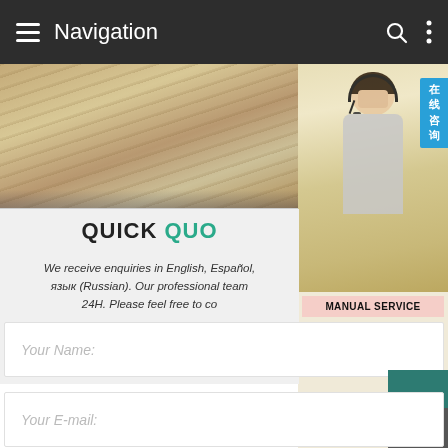Navigation
[Figure (photo): Product photo showing stacked or layered material (possibly steel plates or wooden boards) with a grayish-brown surface texture]
[Figure (photo): Overlay popup showing a woman wearing a headset (customer service representative), with a Chinese badge reading '在线咨询' (online consultation), and text: MANUAL SERVICE, QUOTING ONLINE, bsteel1@163.com]
QUICK QUO
We receive enquiries in English, Español, язык (Russian). Our professional team 24H. Please feel free to co
Your Name:
Your E-mail: